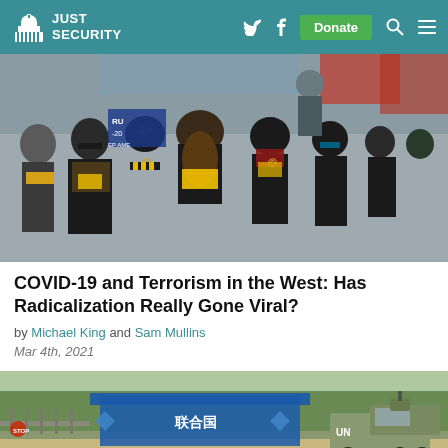Just Security
[Figure (photo): Group of Proud Boys members in black and yellow gear at a rally, some with face coverings and tactical vests]
COVID-19 and Terrorism in the West: Has Radicalization Really Gone Viral?
by Michael King and Sam Mullins
Mar 4th, 2021
[Figure (photo): UN-marked military vehicle and UN checkpoint gate with blue signage and trees in background]